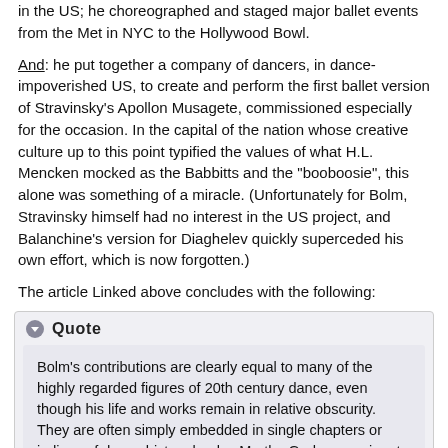in the US; he choreographed and staged major ballet events from the Met in NYC to the Hollywood Bowl.
And: he put together a company of dancers, in dance-impoverished US, to create and perform the first ballet version of Stravinsky's Apollon Musagete, commissioned especially for the occasion. In the capital of the nation whose creative culture up to this point typified the values of what H.L. Mencken mocked as the Babbitts and the "booboosie", this alone was something of a miracle. (Unfortunately for Bolm, Stravinsky himself had no interest in the US project, and Balanchine's version for Diaghelev quickly superceded his own effort, which is now forgotten.)
The article Linked above concludes with the following:
Quote
Bolm's contributions are clearly equal to many of the highly regarded figures of 20th century dance, even though his life and works remain in relative obscurity. They are often simply embedded in single chapters or indices of dance history books. Martha Graham, eminent American choreographer,